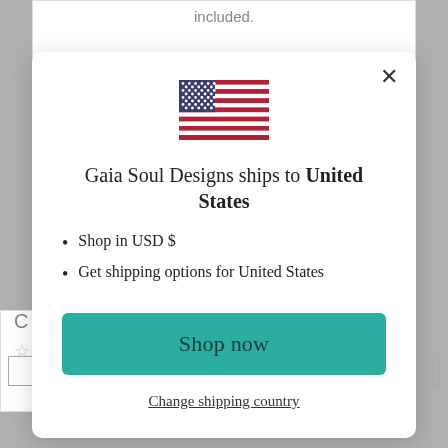[Figure (illustration): US flag emoji/icon shown at top center of modal]
Gaia Soul Designs ships to United States
Shop in USD $
Get shipping options for United States
Shop now
Change shipping country